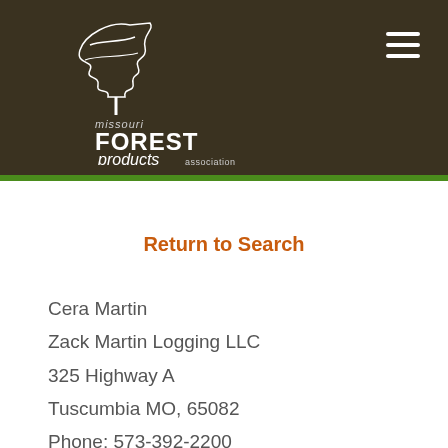[Figure (logo): Missouri Forest Products Association logo with stylized tree icon and text]
Return to Search
Cera Martin
Zack Martin Logging LLC
325 Highway A
Tuscumbia MO, 65082
Phone: 573-392-2200